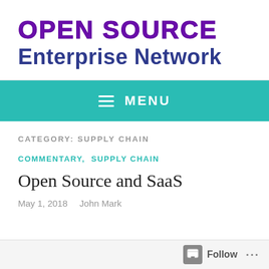OPEN SOURCE Enterprise Network
≡ MENU
CATEGORY: SUPPLY CHAIN
COMMENTARY, SUPPLY CHAIN
Open Source and SaaS
May 1, 2018   John Mark
Follow ...